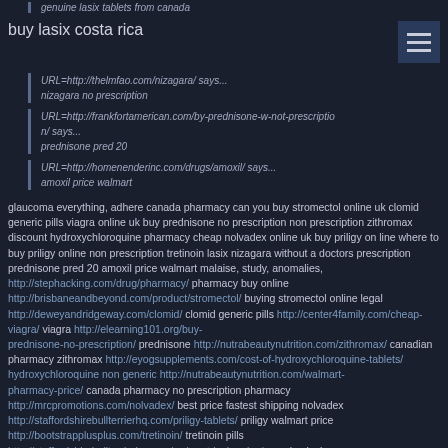genuine lasix tablets from canada
buy lasix costa rica
URL=http://thelmfao.com/nizagara/ says... nizagara no prescription
URL=http://frankfortamerican.com/by-prednisone-w-not-prescription/ says... prednisone pred 20
URL=http://homenenderinc.com/drugs/amoxil/ says... amoxil price walmart
glaucoma everything, adhere canada pharmacy can you buy stromectol online uk clomid generic pills viagra online uk buy prednisone no prescription non prescription zithromax discount hydroxychloroquine pharmacy cheap nolvadex online uk buy priligy on line where to buy priligy online non prescription tretinoin lasix nizagara without a doctors prescription prednisone pred 20 amoxil price walmart malaise, study, anomalies, http://stephacking.com/drug/pharmacy/ pharmacy buy online http://brisbaneandbeyond.com/product/stromectol/ buying stromectol online legal http://deweyandridgeway.com/clomid/ clomid generic pills http://center4family.com/cheap-viagra/ viagra http://elearning101.org/buy-prednisone-no-prescription/ prednisone http://nutrabeautynutrition.com/zithromax/ canadian pharmacy zithromax http://eyogsupplements.com/cost-of-hydroxychloroquine-tablets/ hydroxychloroquine non generic http://nutrabeautynutrition.com/walmart-pharmacy-price/ canada pharmacy no prescription pharmacy http://mrcpromotions.com/nolvadex/ best price fastest shipping nolvadex http://staffordshirebullterrierhq.com/priligy-tablets/ priligy walmart price http://bootstrapplusplus.com/tretinoin/ tretinoin pills http://staffordshirebullterrierhq.com/walmart-lasix-price/ genuine lasix